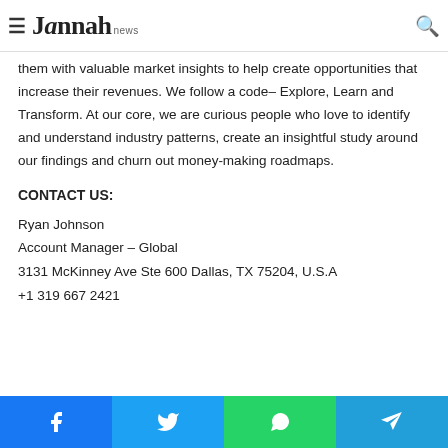Jannah news
them with valuable market insights to help create opportunities that increase their revenues. We follow a code– Explore, Learn and Transform. At our core, we are curious people who love to identify and understand industry patterns, create an insightful study around our findings and churn out money-making roadmaps.
CONTACT US:
Ryan Johnson
Account Manager – Global
3131 McKinney Ave Ste 600 Dallas, TX 75204, U.S.A
+1 319 667 2421